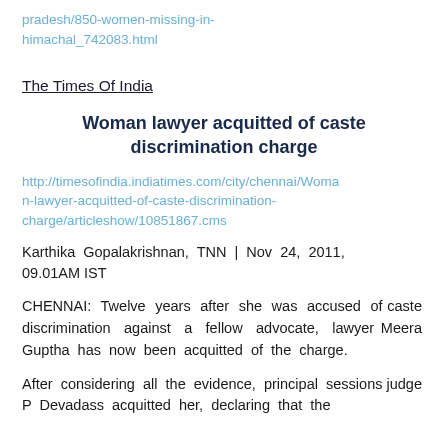pradesh/850-women-missing-in-himachal_742083.html
The Times Of India
Woman lawyer acquitted of caste discrimination charge
http://timesofindia.indiatimes.com/city/chennai/Woman-lawyer-acquitted-of-caste-discrimination-charge/articleshow/10851867.cms
Karthika Gopalakrishnan, TNN | Nov 24, 2011, 09.01AM IST
CHENNAI: Twelve years after she was accused of caste discrimination against a fellow advocate, lawyer Meera Guptha has now been acquitted of the charge.
After considering all the evidence, principal sessions judge P Devadass acquitted her, declaring that the